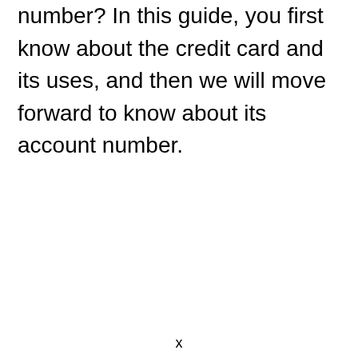number? In this guide, you first know about the credit card and its uses, and then we will move forward to know about its account number.
x